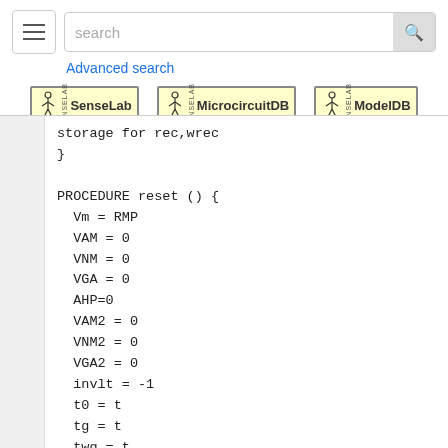search | Advanced search | SenseLab | MicrocircuitDB | ModelDB
storage for rec,wrec
}

PROCEDURE reset () {
  Vm = RMP
  VAM = 0
  VNM = 0
  VGA = 0
  AHP=0
  VAM2 = 0
  VNM2 = 0
  VGA2 = 0
  invlt = -1
  t0 = t
  tg = t
  twg = t
  trrs = t
  cbur = 0 : # bursts left to 0, just in case
  snk = 0 : spike count to 0